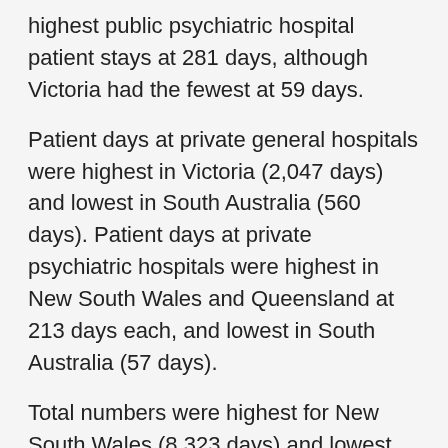highest public psychiatric hospital patient stays at 281 days, although Victoria had the fewest at 59 days.
Patient days at private general hospitals were highest in Victoria (2,047 days) and lowest in South Australia (560 days). Patient days at private psychiatric hospitals were highest in New South Wales and Queensland at 213 days each, and lowest in South Australia (57 days).
Total numbers were highest for New South Wales (8,323 days) and lowest for South Australia (2,209 days), in line with their population sizes.
The pie chart divides the stays of the patients into overnight stays and same day stays for both private and public hospitals. From the chart it can be seen that the majority of the stays were in public hospitals both overnight and same day stays, both of these taking up